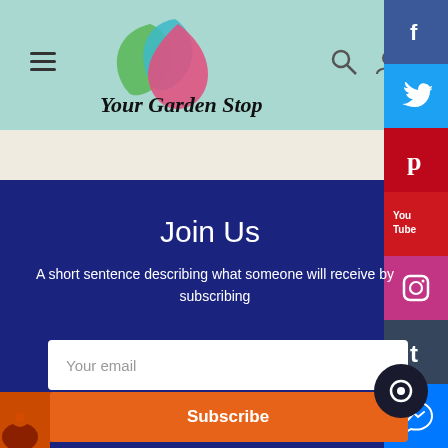[Figure (logo): Your Garden Stop logo with overlapping green, pink, and teal leaf/drop shapes]
Your Garden Stop
[Figure (infographic): Social media sidebar with Facebook, Twitter, Pinterest, YouTube, Instagram, Tumblr, and Messenger icons]
Join Us
A short sentence describing what someone will receive by subscribing
Your email
Subscribe